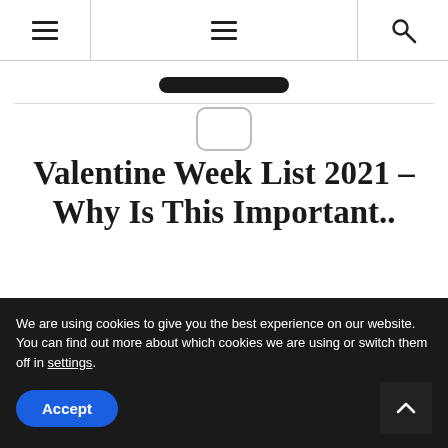Navigation header with hamburger menus and search icon
[Figure (logo): Dark pill-shaped logo bar]
Valentine Week List 2021 – Why Is This Important..
We are using cookies to give you the best experience on our website.
You can find out more about which cookies we are using or switch them off in settings.
Accept